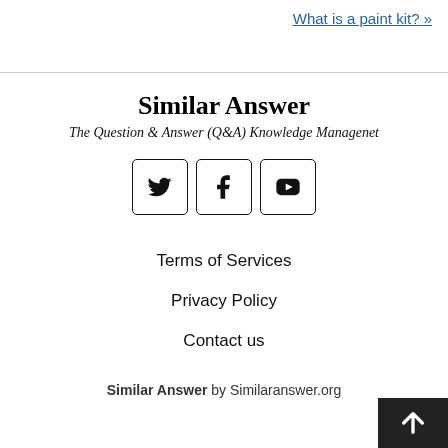What is a paint kit? »
Similar Answer
The Question & Answer (Q&A) Knowledge Managenet
[Figure (other): Three social media icon buttons (Twitter bird, Facebook f, YouTube play button) in square rounded boxes]
Terms of Services
Privacy Policy
Contact us
Similar Answer by Similaranswer.org
[Figure (other): Back to top button — dark square with white upward arrow]